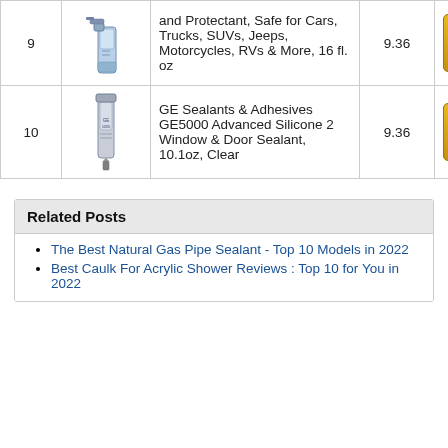| # | Image | Product | Score |  |
| --- | --- | --- | --- | --- |
| 9 | [spray bottle image] | and Protectant, Safe for Cars, Trucks, SUVs, Jeeps, Motorcycles, RVs & More, 16 fl. oz | 9.36 | Check Price |
| 10 | [tube image] | GE Sealants & Adhesives GE5000 Advanced Silicone 2 Window & Door Sealant, 10.1oz, Clear | 9.36 | Check Price |
Related Posts
The Best Natural Gas Pipe Sealant - Top 10 Models in 2022
Best Caulk For Acrylic Shower Reviews : Top 10 for You in 2022